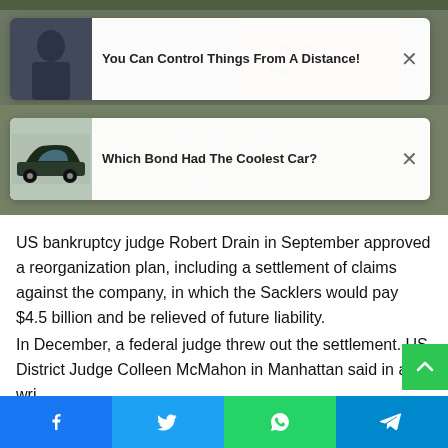[Figure (photo): Background image showing protest signs including one reading HANDS, with people in the background]
[Figure (infographic): Advertisement card: You Can Control Things From A Distance! with a photo of a person]
[Figure (infographic): Advertisement card: Which Bond Had The Coolest Car? with a photo of a classic car]
US bankruptcy judge Robert Drain in September approved a reorganization plan, including a settlement of claims against the company, in which the Sacklers would pay $4.5 billion and be relieved of future liability.
In December, a federal judge threw out the settlement. US District Judge Colleen McMahon in Manhattan said in a wri
[Figure (infographic): Social share bar with Facebook, Twitter, WhatsApp, and Telegram buttons]